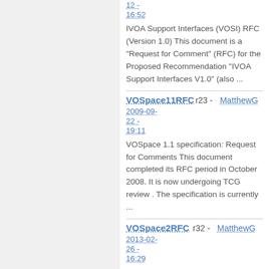12 - 16:52
IVOA Support Interfaces (VOSI) RFC (Version 1.0) This document is a "Request for Comment" (RFC) for the Proposed Recommendation "IVOA Support Interfaces V1.0" (also ...
VOSpace11RFC r23 - MatthewG 2009-09-22 - 19:11
VOSpace 1.1 specification: Request for Comments This document completed its RFC period in October 2008. It is now undergoing TCG review . The specification is currently ...
VOSpace2RFC r32 - MatthewG 2013-02-26 - 16:29